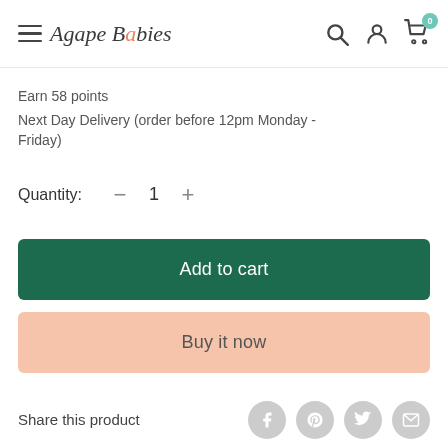Agape Babies
Earn 58 points
Next Day Delivery (order before 12pm Monday - Friday)
Quantity: 1
Add to cart
Buy it now
Share this product